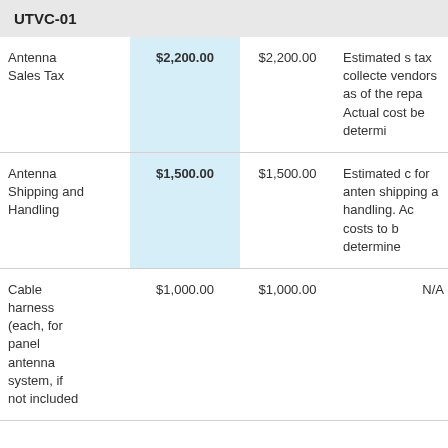UTVC-01
| Item | Amount | Amount | Description |
| --- | --- | --- | --- |
| Antenna Sales Tax | $2,200.00 | $2,200.00 | Estimated s tax collecte vendors as of the repa Actual cost be determi |
| Antenna Shipping and Handling | $1,500.00 | $1,500.00 | Estimated c for anten shipping a handling. Ac costs to b determine |
| Cable harness (each, for panel antenna system, if not included | $1,000.00 | $1,000.00 | N/A |